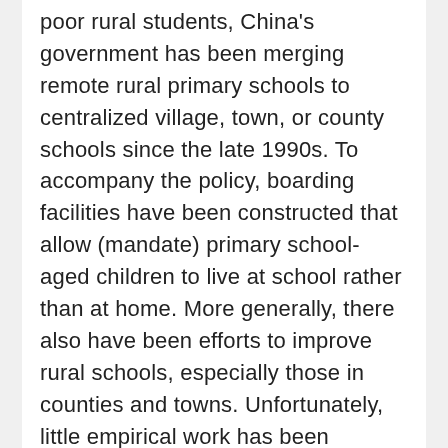poor rural students, China's government has been merging remote rural primary schools to centralized village, town, or county schools since the late 1990s. To accompany the policy, boarding facilities have been constructed that allow (mandate) primary school-aged children to live at school rather than at home. More generally, there also have been efforts to improve rural schools, especially those in counties and towns. Unfortunately, little empirical work has been available to evaluate the impact of the new merger and investment programs on the educational performance of students. Drawing on a unique dataset that records both the path by which students navigate their primary school years (i.e., which different types of schools did students attend) as well as math test scores in three poverty-